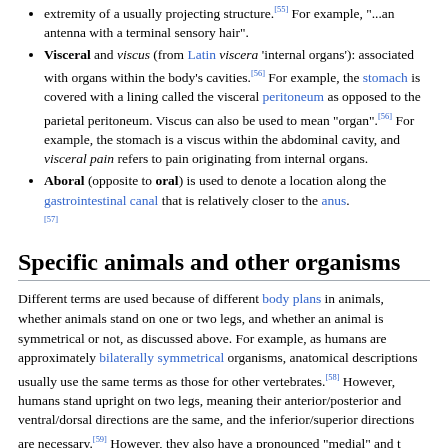extremity of a usually projecting structure.[55] For example, "...an antenna with a terminal sensory hair".
Visceral and viscus (from Latin viscera 'internal organs'): associated with organs within the body's cavities.[56] For example, the stomach is covered with a lining called the visceral peritoneum as opposed to the parietal peritoneum. Viscus can also be used to mean "organ".[56] For example, the stomach is a viscus within the abdominal cavity, and visceral pain refers to pain originating from internal organs.
Aboral (opposite to oral) is used to denote a location along the gastrointestinal canal that is relatively closer to the anus.[57]
Specific animals and other organisms
Different terms are used because of different body plans in animals, whether animals stand on one or two legs, and whether an animal is symmetrical or not, as discussed above. For example, as humans are approximately bilaterally symmetrical organisms, anatomical descriptions usually use the same terms as those for other vertebrates.[58] However, humans stand upright on two legs, meaning their anterior/posterior and ventral/dorsal directions are the same, and the inferior/superior directions are necessary.[59] However, they also have a pronounced "medial" and t